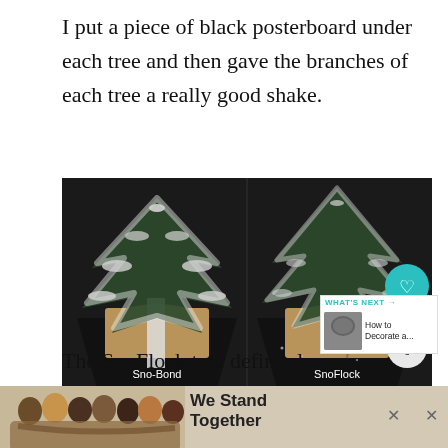I put a piece of black posterboard under each tree and then gave the branches of each tree a really good shake.
[Figure (photo): Two snow-flocked Christmas trees in burlap wrappings on black posterboard. Left tree labeled 'Sno-Bond', right tree labeled 'SnoFlock'. Both have white snow/flocking on branches.]
The SnoFlock tree definitely lost a lot more flocking than the Sno-Bond tree.
[Figure (photo): Advertisement banner: group of people with arms around each other, text 'We Stand Together']